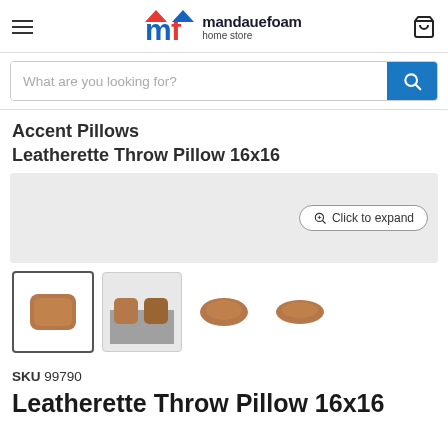mandauefoam home store
What are you looking for?
Accent Pillows Leatherette Throw Pillow 16x16
[Figure (photo): Product image area with light gray background and 'Click to expand' button, showing leatherette throw pillows]
[Figure (photo): Thumbnail images of the leatherette throw pillow product from various angles]
SKU 99790
Leatherette Throw Pillow 16x16